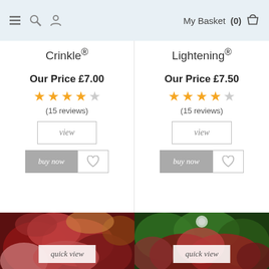My Basket (0)
Crinkle®
Lightening®
Our Price £7.00
Our Price £7.50
(15 reviews)
(15 reviews)
[Figure (screenshot): Product listing page showing two plant products with prices, star ratings, view and buy now buttons, plus two plant photos at the bottom with quick view overlays]